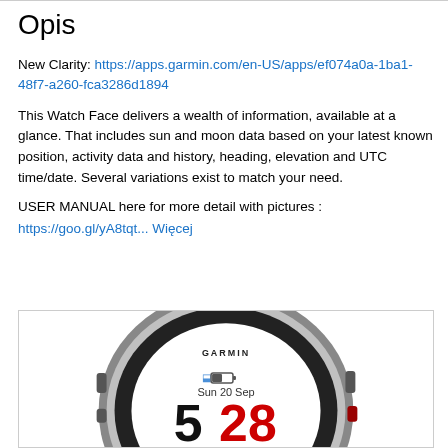Opis
New Clarity: https://apps.garmin.com/en-US/apps/ef074a0a-1ba1-48f7-a260-fca3286d1894
This Watch Face delivers a wealth of information, available at a glance. That includes sun and moon data based on your latest known position, activity data and history, heading, elevation and UTC time/date. Several variations exist to match your need.
USER MANUAL here for more detail with pictures :
https://goo.gl/yA8tqt... Więcej
[Figure (photo): A Garmin smartwatch displaying a watch face with date Sun 20 Sep, and time showing 5:28, with Bluetooth and battery icons visible. The watch has a silver bezel with black band.]